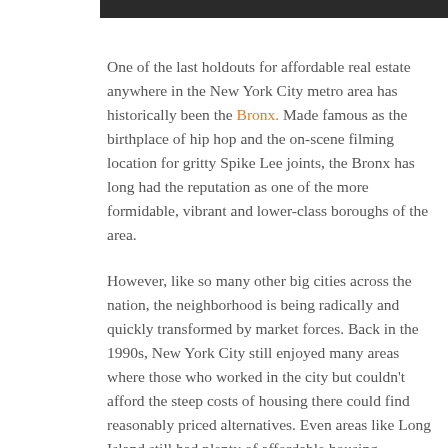[Figure (photo): Partial view of a photograph at the top of the page, appearing dark/black strip]
One of the last holdouts for affordable real estate anywhere in the New York City metro area has historically been the Bronx. Made famous as the birthplace of hip hop and the on-scene filming location for gritty Spike Lee joints, the Bronx has long had the reputation as one of the more formidable, vibrant and lower-class boroughs of the area.
However, like so many other big cities across the nation, the neighborhood is being radically and quickly transformed by market forces. Back in the 1990s, New York City still enjoyed many areas where those who worked in the city but couldn't afford the steep costs of housing there could find reasonably priced alternatives. Even areas like Long Island still had plenty of affordable housing.
But over the course of the last 20 years, the entire